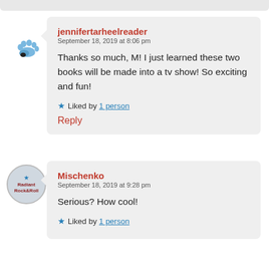jennifertarheelreader
September 18, 2019 at 8:06 pm

Thanks so much, M! I just learned these two books will be made into a tv show! So exciting and fun!

★ Liked by 1 person

Reply
Mischenko
September 18, 2019 at 9:28 pm

Serious? How cool!

★ Liked by 1 person